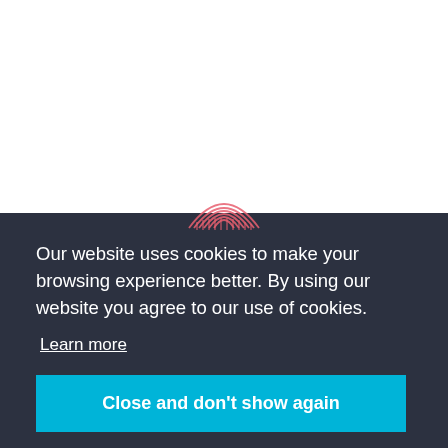[Figure (logo): Partial red/pink arc/dome logo icon visible at the top of the dark cookie consent panel]
Our website uses cookies to make your browsing experience better. By using our website you agree to our use of cookies.
Learn more
Close and don't show again